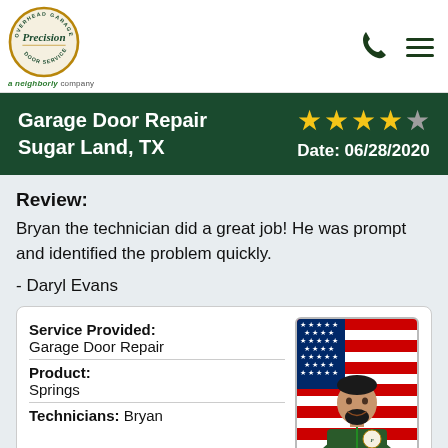Precision Door Service — a Neighborly company
Garage Door Repair Sugar Land, TX — Date: 06/28/2020 — 4 stars
Review:
Bryan the technician did a great job! He was prompt and identified the problem quickly.
- Daryl Evans
| Field | Value |
| --- | --- |
| Service Provided: | Garage Door Repair |
| Product: | Springs |
| Technicians: | Bryan |
[Figure (photo): Technician Bryan posing in front of an American flag background, wearing a dark green uniform]